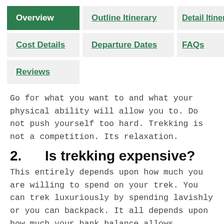Overview
Outline Itinerary
Detail Itinerary
Cost Details
Departure Dates
FAQs
Reviews
Go for what you want to and what your physical ability will allow you to. Do not push yourself too hard. Trekking is not a competition. Its relaxation.
2.      Is trekking expensive?
This entirely depends upon how much you are willing to spend on your trek. You can trek luxuriously by spending lavishly or you can backpack. It all depends upon how much your bank balance allows